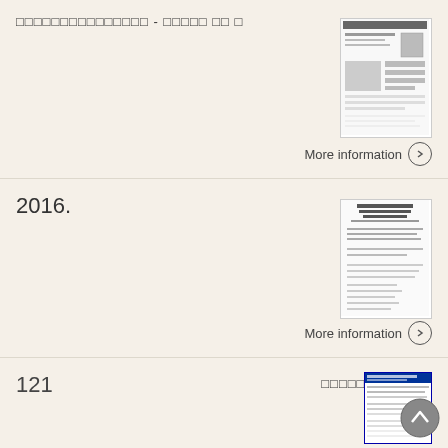□□□□□□□□□□□□□□□ - □□□□□ □□ □
[Figure (screenshot): Thumbnail of a document page with photo ID layout]
More information →
2016.
[Figure (screenshot): Thumbnail of a Japanese document page with text]
More information →
121
□□□□□□□□
[Figure (screenshot): Thumbnail of a Japanese document with blue header]